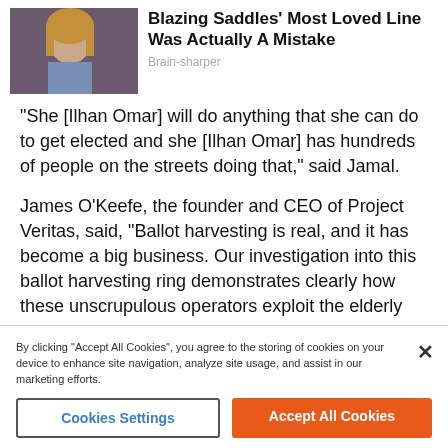[Figure (photo): Promotional image showing a woman with curly hair, related to Blazing Saddles article]
Blazing Saddles' Most Loved Line Was Actually A Mistake
Brain-sharper
“She [Ilhan Omar] will do anything that she can do to get elected and she [Ilhan Omar] has hundreds of people on the streets doing that,” said Jamal.
James O’Keefe, the founder and CEO of Project Veritas, said, “Ballot harvesting is real, and it has become a big business. Our investigation into this ballot harvesting ring demonstrates clearly how these unscrupulous operators exploit the elderly and immigrant communities — and have turned the sacred ballot box into a commodities trading desk.”
By clicking “Accept All Cookies”, you agree to the storing of cookies on your device to enhance site navigation, analyze site usage, and assist in our marketing efforts.
Cookies Settings
Accept All Cookies